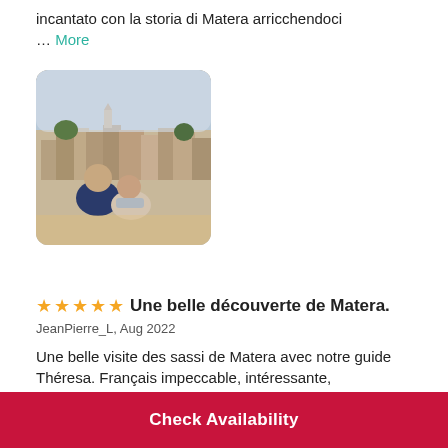incantato con la storia di Matera arricchendoci … More
[Figure (photo): A couple posing together outdoors with the ancient cave city of Matera visible in the background at dusk]
★★★★★ Une belle découverte de Matera.
JeanPierre_L, Aug 2022

Une belle visite des sassi de Matera avec notre guide Théresa. Français impeccable, intéressante,
Check Availability